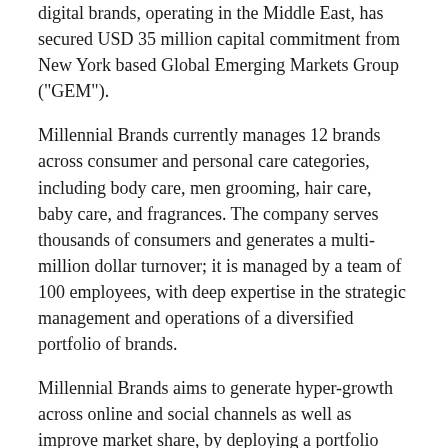digital brands, operating in the Middle East, has secured USD 35 million capital commitment from New York based Global Emerging Markets Group ("GEM").
Millennial Brands currently manages 12 brands across consumer and personal care categories, including body care, men grooming, hair care, baby care, and fragrances. The company serves thousands of consumers and generates a multi-million dollar turnover; it is managed by a team of 100 employees, with deep expertise in the strategic management and operations of a diversified portfolio of brands.
Millennial Brands aims to generate hyper-growth across online and social channels as well as improve market share, by deploying a portfolio construction strategy, targeting partnerships with direct-to-consumer brands as well as the launch of homegrown brands which cater to the on-demand needs of the millennial consumer in the Middle East. Beauty and personal care sector in MENA, estimated at USD